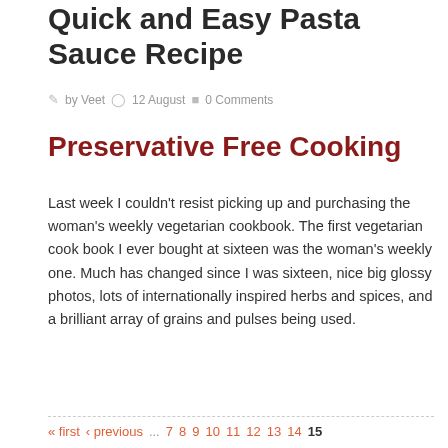Quick and Easy Pasta Sauce Recipe
by Veet   12 August   0 Comments
Preservative Free Cooking
Last week I couldn't resist picking up and purchasing the woman's weekly vegetarian cookbook. The first vegetarian cook book I ever bought at sixteen was the woman's weekly one. Much has changed since I was sixteen, nice big glossy photos, lots of internationally inspired herbs and spices, and a brilliant array of grains and pulses being used.
Read
« first  ‹ previous  ...  7  8  9  10  11  12  13  14  15